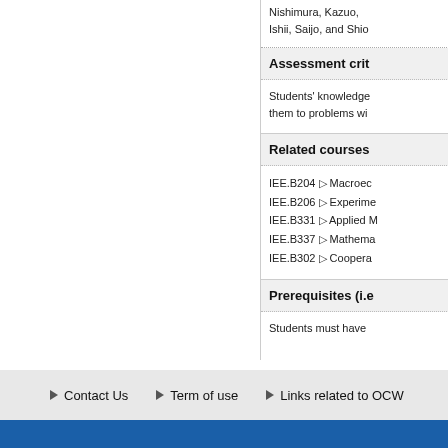Nishimura, Kazuo, Ishii, Saijo, and Shio...
Assessment crit...
Students' knowledge... them to problems wi...
Related courses
IEE.B204 ▷ Macroec...
IEE.B206 ▷ Experime...
IEE.B331 ▷ Applied M...
IEE.B337 ▷ Mathema...
IEE.B302 ▷ Coopera...
Prerequisites (i.e...
Students must have...
Contact Us   Term of use   Links related to OCW